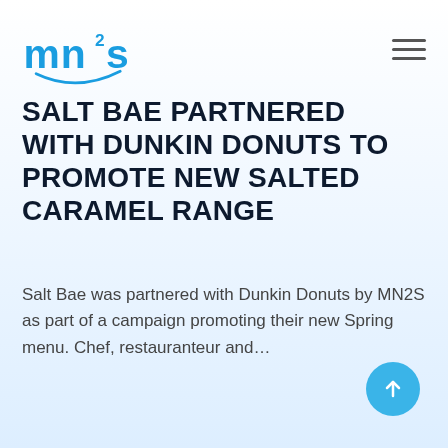mn2s [logo]
SALT BAE PARTNERED WITH DUNKIN DONUTS TO PROMOTE NEW SALTED CARAMEL RANGE
Salt Bae was partnered with Dunkin Donuts by MN2S as part of a campaign promoting their new Spring menu. Chef, restauranteur and…